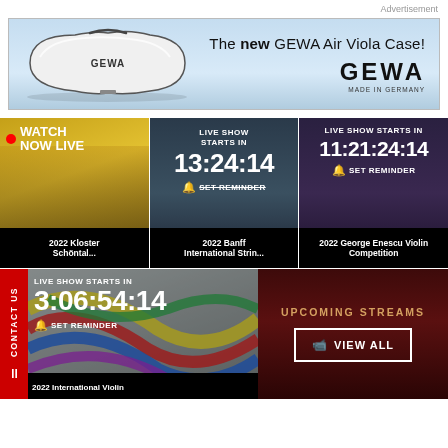Advertisement
[Figure (illustration): GEWA Air Viola Case advertisement banner showing a white violin/viola case on a light blue background with text 'The new GEWA Air Viola Case!' and GEWA Made in Germany logo]
[Figure (screenshot): Card showing orchestra musicians with red live dot, WATCH NOW LIVE text overlay. Footer: 2022 Kloster Schöntal...]
[Figure (screenshot): Card with dark mountain background. LIVE SHOW STARTS IN 13:24:14 countdown, SET REMINDER with bell icon. Footer: 2022 Banff International Strin...]
[Figure (screenshot): Card with dark venue background. LIVE SHOW STARTS IN 11:21:24:14 countdown, SET REMINDER with bell icon. Footer: 2022 George Enescu Violin Competition]
[Figure (screenshot): Card with ribbons/colored streams background. LIVE SHOW STARTS IN 3:06:54:14 countdown, SET REMINDER. Footer: 2022 International Violin]
[Figure (screenshot): Dark red venue background with UPCOMING STREAMS heading and VIEW ALL button with camera icon]